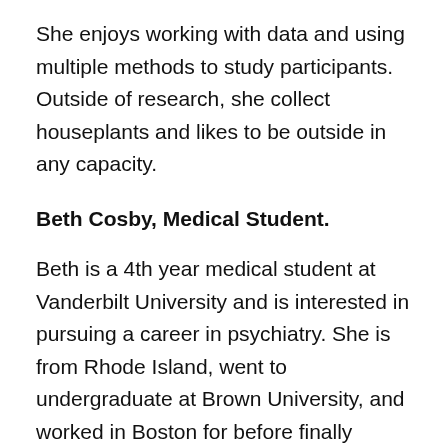She enjoys working with data and using multiple methods to study participants. Outside of research, she collect houseplants and likes to be outside in any capacity.
Beth Cosby, Medical Student.
Beth is a 4th year medical student at Vanderbilt University and is interested in pursuing a career in psychiatry. She is from Rhode Island, went to undergraduate at Brown University, and worked in Boston for before finally leaving New England for medical school. Her academic and professional interests include mood disorders, psychosomatic medicine, ethics, and LGBTQ health. Outside of school, she enjoys hiking